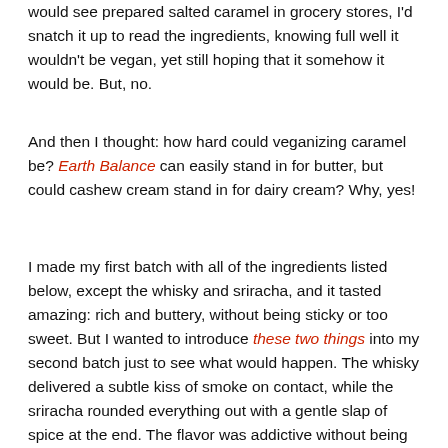would see prepared salted caramel in grocery stores, I'd snatch it up to read the ingredients, knowing full well it wouldn't be vegan, yet still hoping that it somehow it would be. But, no.
And then I thought: how hard could veganizing caramel be? Earth Balance can easily stand in for butter, but could cashew cream stand in for dairy cream? Why, yes!
I made my first batch with all of the ingredients listed below, except the whisky and sriracha, and it tasted amazing: rich and buttery, without being sticky or too sweet. But I wanted to introduce these two things into my second batch just to see what would happen. The whisky delivered a subtle kiss of smoke on contact, while the sriracha rounded everything out with a gentle slap of spice at the end. The flavor was addictive without being too aggressive, making this a unique snack that's perfect to gift to another or keep for yourself.